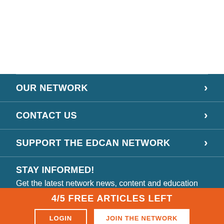OUR NETWORK
CONTACT US
SUPPORT THE EDCAN NETWORK
STAY INFORMED!
Get the latest network news, content and education
4/5 FREE ARTICLES LEFT
LOGIN
JOIN THE NETWORK